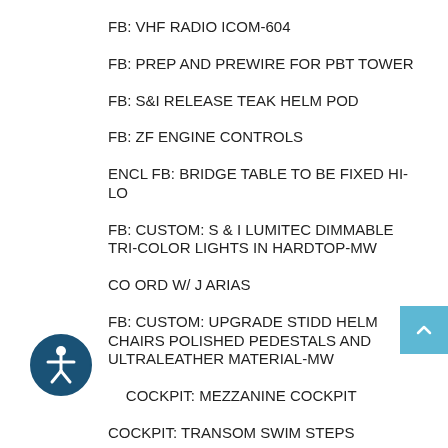FB: VHF RADIO ICOM-604
FB: PREP AND PREWIRE FOR PBT TOWER
FB: S&I RELEASE TEAK HELM POD
FB: ZF ENGINE CONTROLS
ENCL FB: BRIDGE TABLE TO BE FIXED HI-LO
FB: CUSTOM: S & I LUMITEC DIMMABLE TRI-COLOR LIGHTS IN HARDTOP-MW
CO ORD W/ J ARIAS
FB: CUSTOM: UPGRADE STIDD HELM CHAIRS POLISHED PEDESTALS AND ULTRALEATHER MATERIAL-MW
COCKPIT: MEZZANINE COCKPIT
COCKPIT: TRANSOM SWIM STEPS